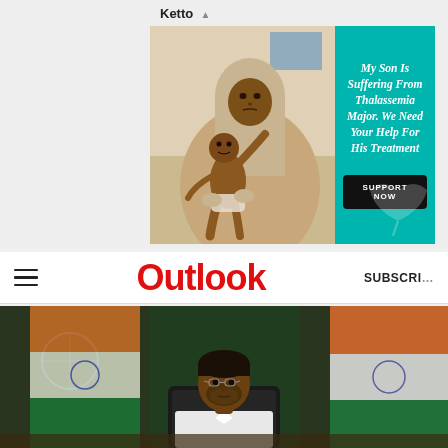[Figure (photo): Ketto advertisement banner showing a mother holding a malnourished baby on the left photo side, and teal background with text on the right side. Text reads: My Son Is Suffering From Thalassemia Major. We Need Your Help For His Treatment. SUPPORT NOW button.]
Outlook SUBSCRIBE
[Figure (photo): Photograph of a man (Indian politician, Arvind Kejriwal) seated at a desk in front of Indian national flags and green flag, wearing glasses and white shirt.]